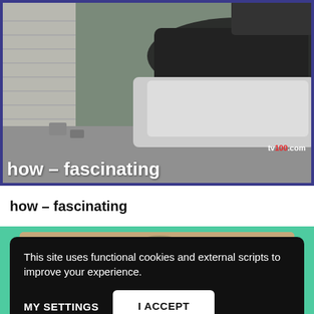[Figure (screenshot): CCTV/security camera footage of a parking lot showing multiple cars parked, viewed from above. A wall with shutters is visible on the left. The text 'tv100.com' appears in the lower right corner. A white overlay text reads 'how – fascinating' at the bottom.]
how – fascinating
[Figure (screenshot): Partial view of a second video thumbnail showing trees and sky in muted tones, behind a cookie consent banner.]
This site uses functional cookies and external scripts to improve your experience.
MY SETTINGS
I ACCEPT